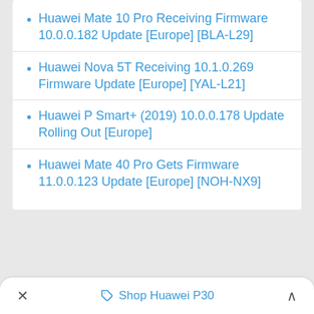Huawei Mate 10 Pro Receiving Firmware 10.0.0.182 Update [Europe] [BLA-L29]
Huawei Nova 5T Receiving 10.1.0.269 Firmware Update [Europe] [YAL-L21]
Huawei P Smart+ (2019) 10.0.0.178 Update Rolling Out [Europe]
Huawei Mate 40 Pro Gets Firmware 11.0.0.123 Update [Europe] [NOH-NX9]
Shop Huawei P30